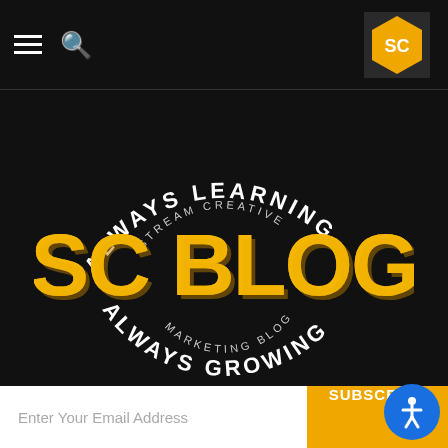Navigation bar with hamburger menu, search icon, and SC logo
[Figure (logo): SC Blog circular badge logo on black background. Text arched at top: 'ALWAYS LEARNING', inner arc: 'STREAM CREATIVE'. Center large text: 'SC BLOG' in bold yellow 3D letters. Inner arc below: 'MARKETING BLOG'. Text arched at bottom: 'ALWAYS GROWING'.]
Enter Your Email Address
SUBSCRIBE